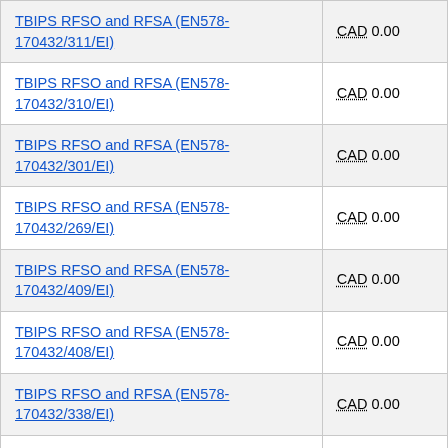| TBIPS RFSO and RFSA (EN578-170432/311/EI) | CAD 0.00 |
| TBIPS RFSO and RFSA (EN578-170432/310/EI) | CAD 0.00 |
| TBIPS RFSO and RFSA (EN578-170432/301/EI) | CAD 0.00 |
| TBIPS RFSO and RFSA (EN578-170432/269/EI) | CAD 0.00 |
| TBIPS RFSO and RFSA (EN578-170432/409/EI) | CAD 0.00 |
| TBIPS RFSO and RFSA (EN578-170432/408/EI) | CAD 0.00 |
| TBIPS RFSO and RFSA (EN578-170432/338/EI) | CAD 0.00 |
| TBIPS RFSO and RFSA (EN578-170432/337/EI) | CAD 0.00 |
| TBIPS RFSO and RFSA (EN578-170432/336/EI) | CAD 0.00 |